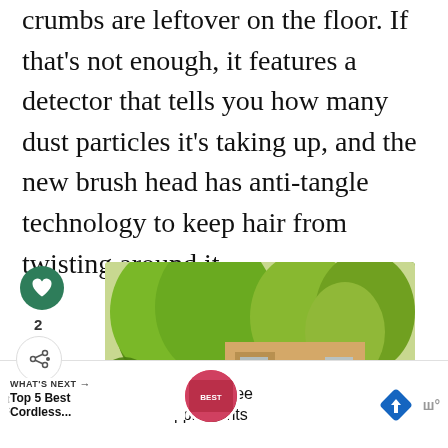crumbs are leftover on the floor. If that's not enough, it features a detector that tells you how many dust particles it's taking up, and the new brush head has anti-tangle technology to keep hair from twisting around it.
[Figure (photo): A house exterior with lush green trees and garden path, article thumbnail card with heart/share social buttons showing count of 2]
WHAT'S NEXT → Top 5 Best Cordless...
Save This Fall! BOGO Free Vitamins and Supplements